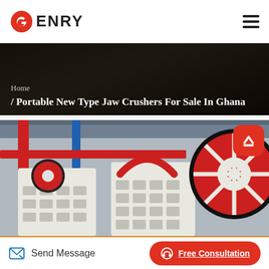GENRY — navigation header with logo and hamburger menu
Home / Portable New Type Jaw Crushers For Sale In Ghana
[Figure (photo): Industrial jaw crusher machines in a factory setting, showing red and white heavy machinery with large flywheels]
Send Message
Free Consultation